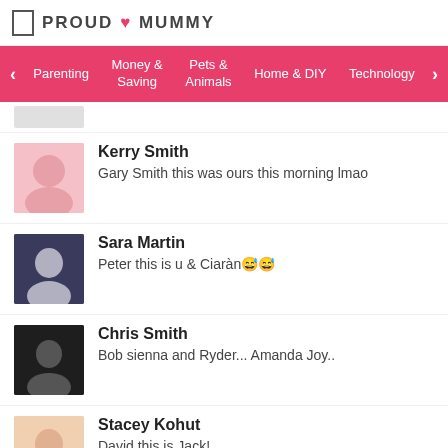PROUD MUMMY
Parenting | Money & Saving | Pets & Animals | Home & DIY | Technology
Kerry Smith — Gary Smith this was ours this morning lmao
Sara Martin — Peter this is u & Ciaràn😅😅
Chris Smith — Bob sienna and Ryder... Amanda Joy..
Stacey Kohut — David this is Jack!
Emmely Anna Martin — Nikki Termote minne jongstn veurol !